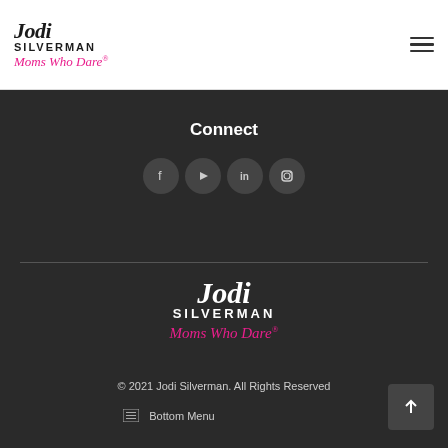Jodi Silverman Moms Who Dare®
Connect
[Figure (illustration): Row of four circular social media icons: Facebook, YouTube, LinkedIn, Instagram]
[Figure (logo): Jodi Silverman Moms Who Dare® logo in white and pink on dark background]
© 2021 Jodi Silverman. All Rights Reserved
Bottom Menu